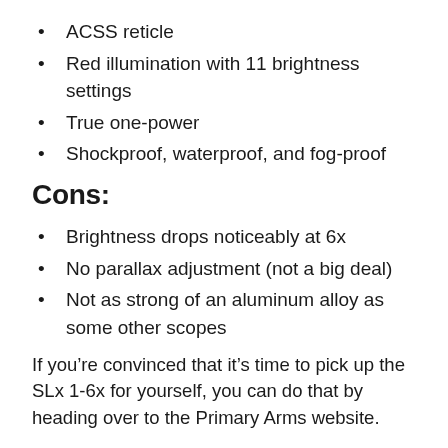ACSS reticle
Red illumination with 11 brightness settings
True one-power
Shockproof, waterproof, and fog-proof
Cons:
Brightness drops noticeably at 6x
No parallax adjustment (not a big deal)
Not as strong of an aluminum alloy as some other scopes
If you’re convinced that it’s time to pick up the SLx 1-6x for yourself, you can do that by heading over to the Primary Arms website.